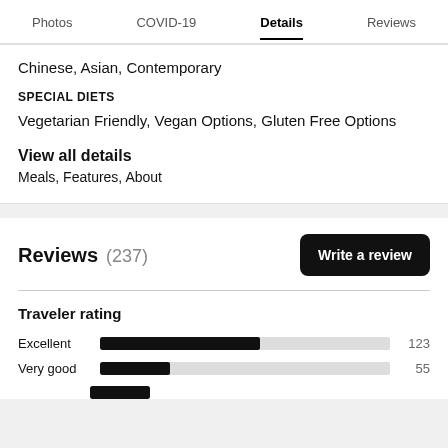Photos | COVID-19 | Details | Reviews
Chinese, Asian, Contemporary
SPECIAL DIETS
Vegetarian Friendly, Vegan Options, Gluten Free Options
View all details
Meals, Features, About
Reviews (237)
Write a review
Traveler rating
[Figure (bar-chart): Traveler rating]